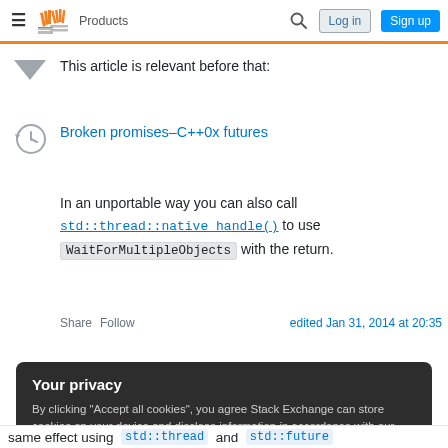≡ [Stack Overflow logo] Products 🔍 Log in Sign up
This article is relevant before that:
Broken promises–C++0x futures
In an unportable way you can also call std::thread::native_handle() to use WaitForMultipleObjects with the return.
Share  Follow    edited Jan 31, 2014 at 20:35
Your privacy
By clicking "Accept all cookies", you agree Stack Exchange can store cookies on your device and disclose information in accordance with our Cookie Policy.
[Accept all cookies] [Customize settings]
same effect using  std::thread  and  std::future